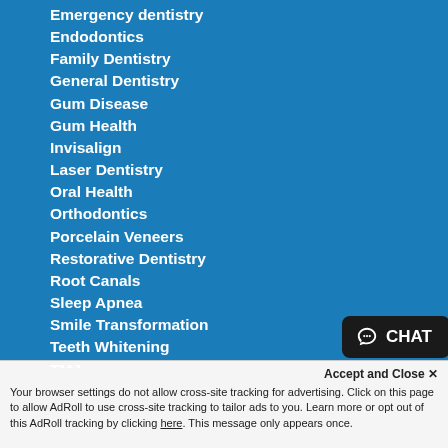Emergency dentistry
Endodontics
Family Dentistry
General Dentistry
Gum Disease
Gum Health
Invisalign
Laser Dentistry
Oral Health
Orthodontics
Porcelain Veneers
Restorative Dentistry
Root Canals
Sleep Apnea
Smile Transformation
Teeth Whitening
TMJ
Uncategorized
Wisdom Teeth
Accept and Close ✕
Your browser settings do not allow cross-site tracking for advertising. Click on this page to allow AdRoll to use cross-site tracking to tailor ads to you. Learn more or opt out of this AdRoll tracking by clicking here. This message only appears once.